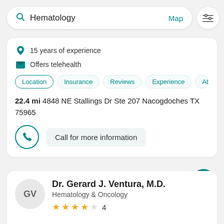Hematology  Map
15 years of experience
Offers telehealth
Location | Insurance | Reviews | Experience | Abo
22.4 mi 4848 NE Stallings Dr Ste 207 Nacogdoches TX 75965
Call for more information
Dr. Gerard J. Ventura, M.D.
Hematology & Oncology
4